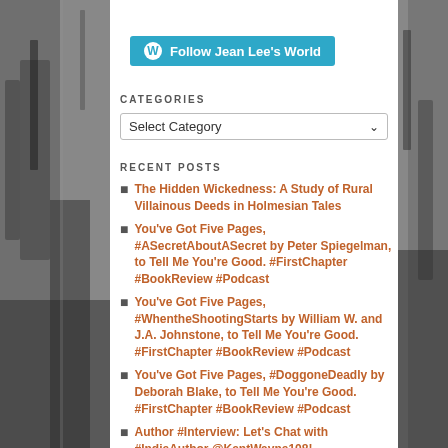[Figure (other): WordPress Follow button: blue rounded rectangle with WordPress logo and text 'Follow Jean Lee's World']
CATEGORIES
[Figure (other): Dropdown select box with label 'Select Category' and a chevron arrow on the right]
RECENT POSTS
The Hidden Wickedness: A Study of Rural Villainous Deeds in Holmesian Tales
You've Got Five Pages, #ASecretAboutASecret by Peter Spiegelman, to Tell Me You're Good. #FirstChapter #BookReview #Podcast
You've Got Five Pages, #WhentheShootingStarts by William W. and J.A. Johnstone, to Tell Me You're Good. #FirstChapter #BookReview #Podcast
You've Got Five Pages, #DoggoneDeadly by Deborah Blake, to Tell Me You're Good. #FirstChapter #BookReview #Podcast
Author #Interview: Let's Chat with #IndieAuthor @KentWayne108!